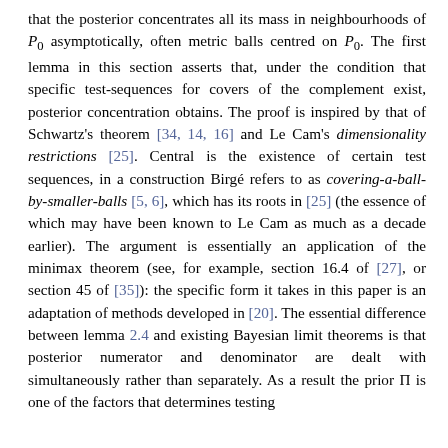that the posterior concentrates all its mass in neighbourhoods of P0 asymptotically, often metric balls centred on P0. The first lemma in this section asserts that, under the condition that specific test-sequences for covers of the complement exist, posterior concentration obtains. The proof is inspired by that of Schwartz's theorem [34, 14, 16] and Le Cam's dimensionality restrictions [25]. Central is the existence of certain test sequences, in a construction Birgé refers to as covering-a-ball-by-smaller-balls [5, 6], which has its roots in [25] (the essence of which may have been known to Le Cam as much as a decade earlier). The argument is essentially an application of the minimax theorem (see, for example, section 16.4 of [27], or section 45 of [35]): the specific form it takes in this paper is an adaptation of methods developed in [20]. The essential difference between lemma 2.4 and existing Bayesian limit theorems is that posterior numerator and denominator are dealt with simultaneously rather than separately. As a result the prior Π is one of the factors that determines testing